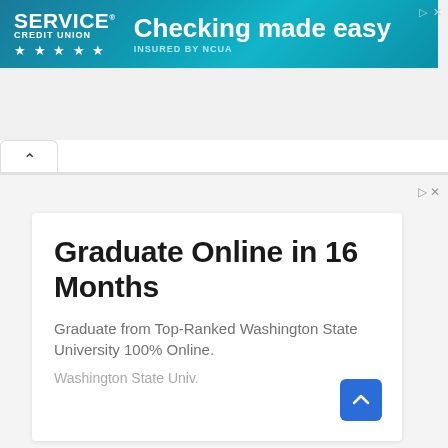[Figure (screenshot): Service Credit Union advertisement banner with teal/cyan gradient background. Shows 'SERVICE CREDIT UNION' logo with 5 stars on the left, and 'Checking made easy' headline with 'INSURED BY NCUA' subtext on the right.]
[Figure (screenshot): A collapsible tab/accordion UI element showing an upward caret arrow indicating collapsed content area.]
Graduate Online in 16 Months
Graduate from Top-Ranked Washington State University 100% Online.
Washington State Univ.